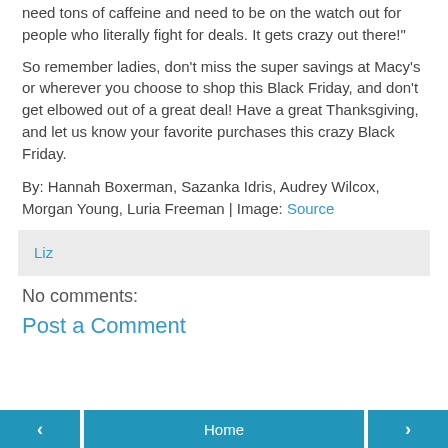need tons of caffeine and need to be on the watch out for people who literally fight for deals. It gets crazy out there!"
So remember ladies, don’t miss the super savings at Macy’s or wherever you choose to shop this Black Friday, and don’t get elbowed out of a great deal! Have a great Thanksgiving, and let us know your favorite purchases this crazy Black Friday.
By: Hannah Boxerman, Sazanka Idris, Audrey Wilcox, Morgan Young, Luria Freeman | Image: Source
Liz
No comments:
Post a Comment
< Home >